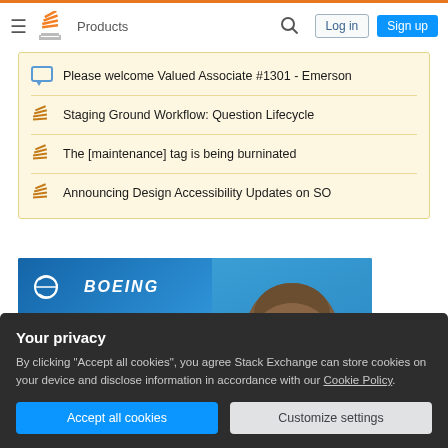≡  [Stack Overflow logo]  Products  🔍  Log in  Sign up
Please welcome Valued Associate #1301 - Emerson
Staging Ground Workflow: Question Lifecycle
The [maintenance] tag is being burninated
Announcing Design Accessibility Updates on SO
[Figure (photo): Boeing advertisement banner with Boeing logo, a smiling man, and text 'YOUR SECURITY' on a blue background]
Your privacy
By clicking "Accept all cookies", you agree Stack Exchange can store cookies on your device and disclose information in accordance with our Cookie Policy.
Accept all cookies   Customize settings